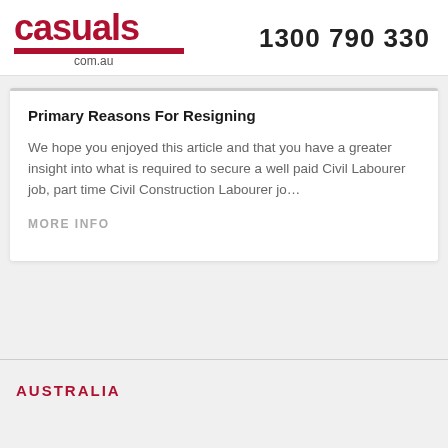casuals com.au  1300 790 330
Primary Reasons For Resigning
We hope you enjoyed this article and that you have a greater insight into what is required to secure a well paid Civil Labourer job, part time Civil Construction Labourer jo…
MORE INFO
AUSTRALIA